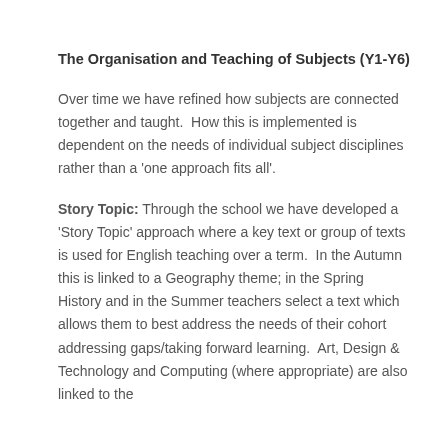The Organisation and Teaching of Subjects (Y1-Y6)
Over time we have refined how subjects are connected together and taught.  How this is implemented is dependent on the needs of individual subject disciplines rather than a 'one approach fits all'.
Story Topic: Through the school we have developed a 'Story Topic' approach where a key text or group of texts is used for English teaching over a term.  In the Autumn this is linked to a Geography theme; in the Spring History and in the Summer teachers select a text which allows them to best address the needs of their cohort addressing gaps/taking forward learning.  Art, Design & Technology and Computing (where appropriate) are also linked to the